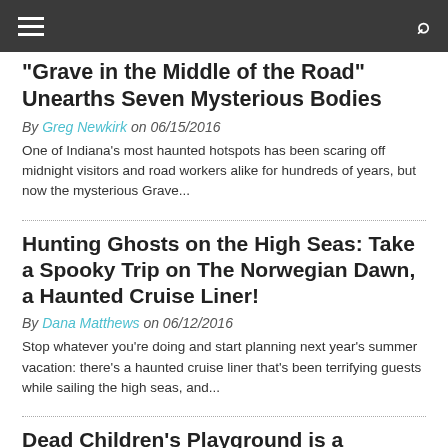Navigation bar with hamburger menu and search icon
"Grave in the Middle of the Road" Unearths Seven Mysterious Bodies
By Greg Newkirk on 06/15/2016
One of Indiana's most haunted hotspots has been scaring off midnight visitors and road workers alike for hundreds of years, but now the mysterious Grave...
Hunting Ghosts on the High Seas: Take a Spooky Trip on The Norwegian Dawn, a Haunted Cruise Liner!
By Dana Matthews on 06/12/2016
Stop whatever you're doing and start planning next year's summer vacation: there's a haunted cruise liner that's been terrifying guests while sailing the high seas, and...
Dead Children's Playground is a Haunted Park